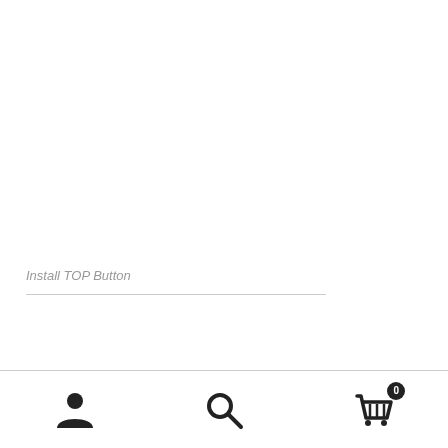Install TOP Button
[Figure (infographic): Bottom navigation bar with three icons: user/account icon on the left, search magnifying glass icon in the center, and a shopping cart icon with a badge showing '0' on the right. A horizontal divider separates the bar from the content above.]